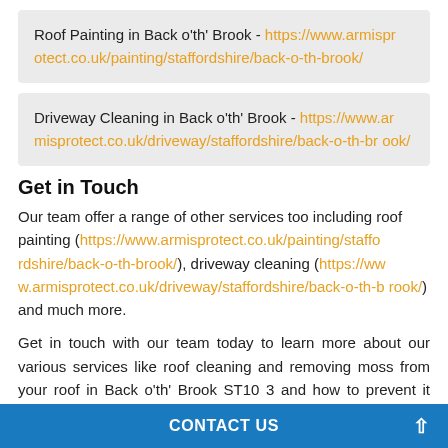Roof Painting in Back o'th' Brook - https://www.armisprotect.co.uk/painting/staffordshire/back-o-th-brook/
Driveway Cleaning in Back o'th' Brook - https://www.armisprotect.co.uk/driveway/staffordshire/back-o-th-brook/
Get in Touch
Our team offer a range of other services too including roof painting (https://www.armisprotect.co.uk/painting/staffordshire/back-o-th-brook/), driveway cleaning (https://www.armisprotect.co.uk/driveway/staffordshire/back-o-th-brook/) and much more.
Get in touch with our team today to learn more about our various services like roof cleaning and removing moss from your roof in Back o'th' Brook ST10 3 and how to prevent it from ever coming back. Fill in our contact form
CONTACT US